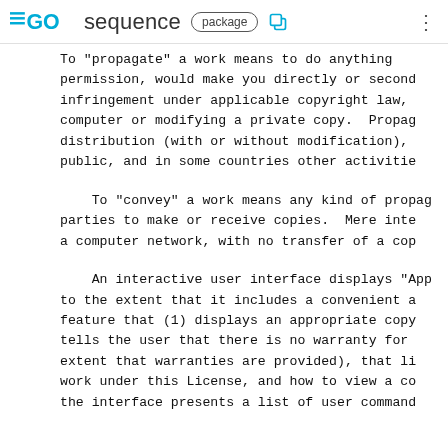GO sequence package
To "propagate" a work means to do anything with it, without permission, would make you directly or secondarily liable for infringement under applicable copyright law, except executing it on a computer or modifying a private copy.  Propagation includes distribution (with or without modification), making available to the public, and in some countries other activities as well.
To "convey" a work means any kind of propagation that enables other parties to make or receive copies.  Mere interaction with a user through a computer network, with no transfer of a copy, is not conveying.
An interactive user interface displays "Appropriate Legal Notices" to the extent that it includes a convenient and prominently visible feature that (1) displays an appropriate copyright notice, and (2) tells the user that there is no warranty for the work (except to the extent that warranties are provided), that licensees may convey the work under this License, and how to view a copy of this License.  If the interface presents a list of user commands or options, such as a